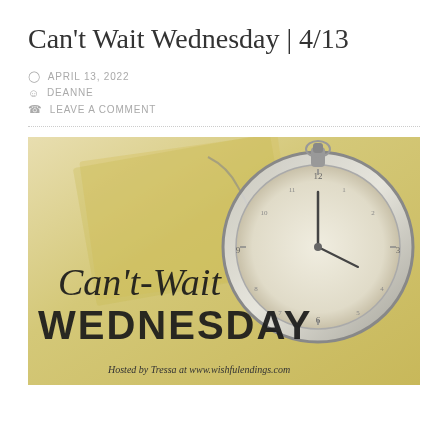Can't Wait Wednesday | 4/13
APRIL 13, 2022
DEANNE
LEAVE A COMMENT
[Figure (illustration): Can't-Wait Wednesday blog banner image featuring an antique pocket watch on a cream/yellow background with script text reading 'Can't-Wait Wednesday' and bold serif text 'WEDNESDAY', with caption 'Hosted by Tressa at www.wishfulendings.com']